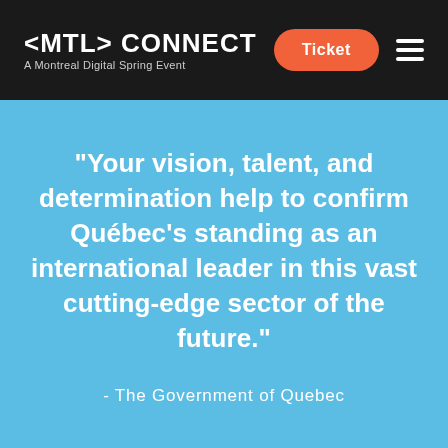<MTL> CONNECT — A Montreal Digital Spring Event
Ticket
"Your vision, talent, and determination help to confirm Québec's standing as an international leader in this vast cutting-edge sector of the future."
- The Government of Quebec